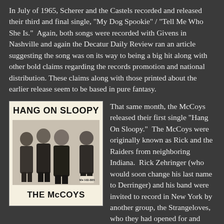In July of 1965, Scherer and the Castels recorded and released their third and final single, "My Dog Spookie" / "Tell Me Who She Is."  Again, both songs were recorded with Givens in Nashville and again the Decatur Daily Review ran an article suggesting the song was on its way to being a big hit along with other bold claims regarding the records promotion and national distribution. These claims along with those printed about the earlier release seem to be based in pure fantasy.
[Figure (photo): Album cover for 'Hang On Sloopy' by The McCoys. Black and white image showing band members, with bold text 'HANG ON SLOOPY' at top and 'THE McCOYS' at bottom on a cream/off-white background.]
That same month, the McCoys released their first single "Hang On Sloopy."  The McCoys were originally known as Rick and the Raiders from neighboring Indiana.  Rick Zehringer (who would soon change his last name to Derringer) and his band were invited to record in New York by another group, the Strangeloves, who they had opened for and played with in Ohio.   The Strangeloves it turned out were a group of New York songwriters and producers looking for a group that looked like the